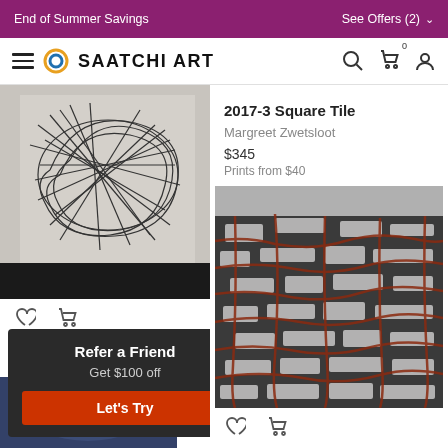End of Summer Savings  |  See Offers (2) ▾
SAATCHI ART
[Figure (photo): Abstract line drawing artwork on white/grey background with chaotic crossing lines forming an elliptical shape, displayed on a dark shelf]
2017-3 Square Tile
Margreet Zwetsloot
$345
Prints from $40
[Figure (photo): Artwork showing irregular white/grey tile-shaped fragments over red-brown curved lines on a dark grey background]
Refer a Friend
Get $100 off
Let's Try